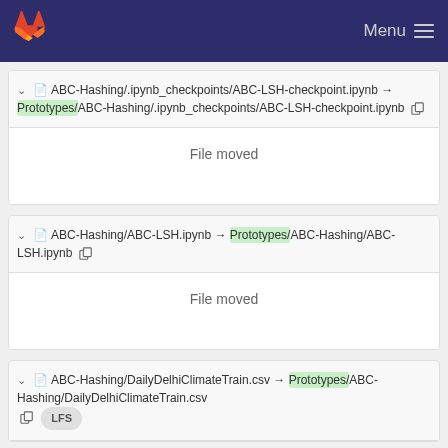Menu
ABC-Hashing/.ipynb_checkpoints/ABC-LSH-checkpoint.ipynb → Prototypes/ABC-Hashing/.ipynb_checkpoints/ABC-LSH-checkpoint.ipynb
File moved
ABC-Hashing/ABC-LSH.ipynb → Prototypes/ABC-Hashing/ABC-LSH.ipynb
File moved
ABC-Hashing/DailyDelhiClimateTrain.csv → Prototypes/ABC-Hashing/DailyDelhiClimateTrain.csv LFS